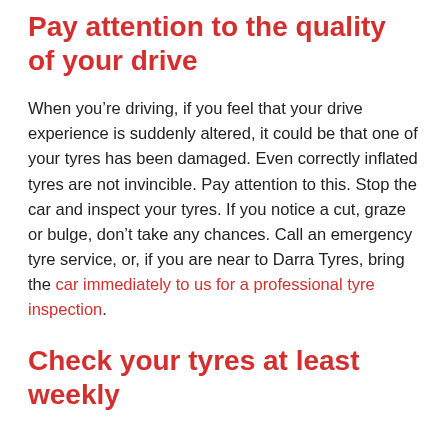Pay attention to the quality of your drive
When you’re driving, if you feel that your drive experience is suddenly altered, it could be that one of your tyres has been damaged. Even correctly inflated tyres are not invincible. Pay attention to this. Stop the car and inspect your tyres. If you notice a cut, graze or bulge, don’t take any chances. Call an emergency tyre service, or, if you are near to Darra Tyres, bring the car immediately to us for a professional tyre inspection.
Check your tyres at least weekly